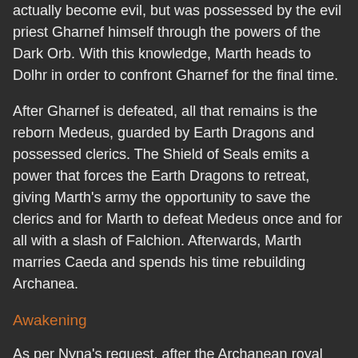actually become evil, but was possessed by the evil priest Gharnef himself through the powers of the Dark Orb. With this knowledge, Marth heads to Dolhr in order to confront Gharnef for the final time.
After Gharnef is defeated, all that remains is the reborn Medeus, guarded by Earth Dragons and possessed clerics. The Shield of Seals emits a power that forces the Earth Dragons to retreat, giving Marth's army the opportunity to save the clerics and for Marth to defeat Medeus once and for all with a slash of Falchion. Afterwards, Marth marries Caeda and spends his time rebuilding Archanea.
Awakening
As per Nyna's request, after the Archanean royal family died out, Marth was at some point crowned Archanea's ruler.